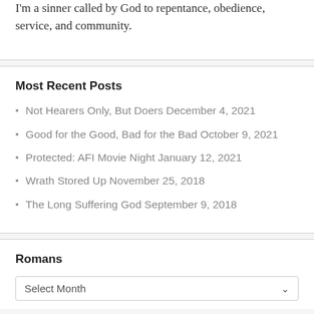I'm a sinner called by God to repentance, obedience, service, and community.
Most Recent Posts
Not Hearers Only, But Doers December 4, 2021
Good for the Good, Bad for the Bad October 9, 2021
Protected: AFI Movie Night January 12, 2021
Wrath Stored Up November 25, 2018
The Long Suffering God September 9, 2018
Romans